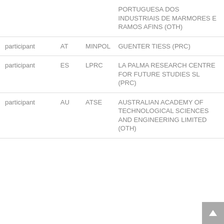| Role | Country | Short name | Organisation |
| --- | --- | --- | --- |
|  |  |  | PORTUGUESA DOS INDUSTRIAIS DE MARMORES E RAMOS AFINS (OTH) |
| participant | AT | MINPOL | GUENTER TIESS (PRC) |
| participant | ES | LPRC | LA PALMA RESEARCH CENTRE FOR FUTURE STUDIES SL (PRC) |
| participant | AU | ATSE | AUSTRALIAN ACADEMY OF TECHNOLOGICAL SCIENCES AND ENGINEERING LIMITED (OTH) |